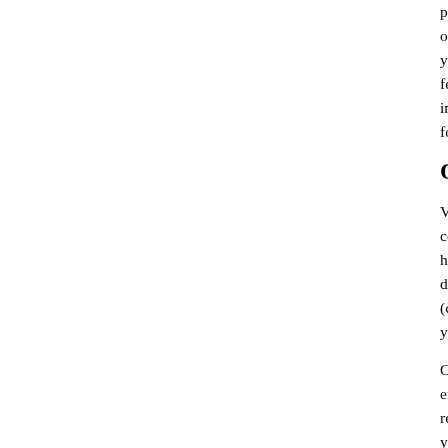piece of butter cream cake is much heavier. This h our body's functioning. Hence, heavy food will b you eat more heavy food than is good for your cons feel nauseous and put on weight. Light food brin improves the agility of body and mind and boosts i food you will become undernourished and exhauste
Quality 2 in Ayurveda – temperatu
Vegetables have the quality of being either heating courgette and coconut are cooling; artichoke, koh heating. Of course, food can also be heating b digestion and the metabolism. However, too much (chilli, cayenne pepper) can interfere with digestio you gluttonous and giving you heartburn.
Cold food keeps the mind clear and has a ref environment is hot. Food can be cold because of refrigerator. Cold food is always harder to digest. T your digestion but also your entire metabolism. It m makes your immune system less active.
Quality 3 in Ayurveda – moisture: h